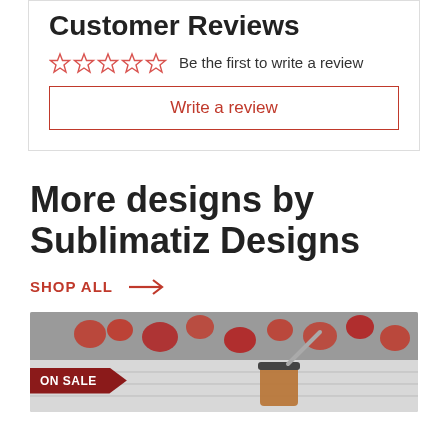Customer Reviews
Be the first to write a review
Write a review
More designs by Sublimatiz Designs
SHOP ALL →
[Figure (photo): Product photo showing a rose gold tumbler cup with straw, set against a background of red heart decorations, with an ON SALE badge overlay]